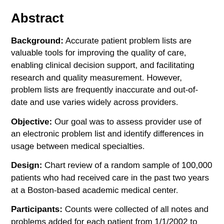Abstract
Background: Accurate patient problem lists are valuable tools for improving the quality of care, enabling clinical decision support, and facilitating research and quality measurement. However, problem lists are frequently inaccurate and out-of-date and use varies widely across providers.
Objective: Our goal was to assess provider use of an electronic problem list and identify differences in usage between medical specialties.
Design: Chart review of a random sample of 100,000 patients who had received care in the past two years at a Boston-based academic medical center.
Participants: Counts were collected of all notes and problems added for each patient from 1/1/2002 to 4/30/2010. For each entry, the recording provider and the